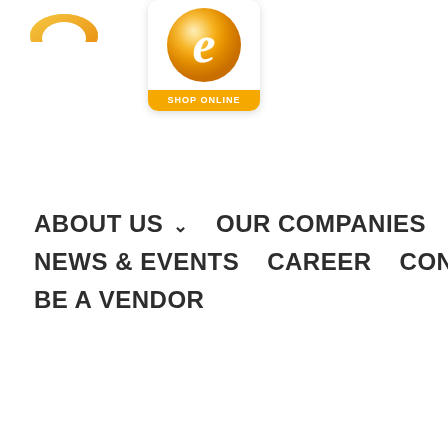[Figure (logo): Orange arc/wave shape logo in top left corner]
[Figure (logo): Orange 'e' shop online logo badge with rounded white card background and orange SHOP ONLINE label]
ABOUT US  OUR COMPANIES
NEWS & EVENTS  CAREER  CONTACT US
BE A VENDOR